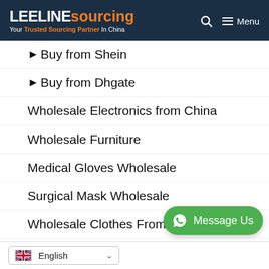LEELINE sourcing — Your Trusted Sourcing Partner In China | Menu
▶ Buy from Shein
▶ Buy from Dhgate
Wholesale Electronics from China
Wholesale Furniture
Medical Gloves Wholesale
Surgical Mask Wholesale
Wholesale Clothes From China
Wholesale Scarf
Cap Manufacturers
[Figure (other): WhatsApp Message Us button (green pill-shaped button with WhatsApp icon)]
English (language selector with UK flag and chevron)